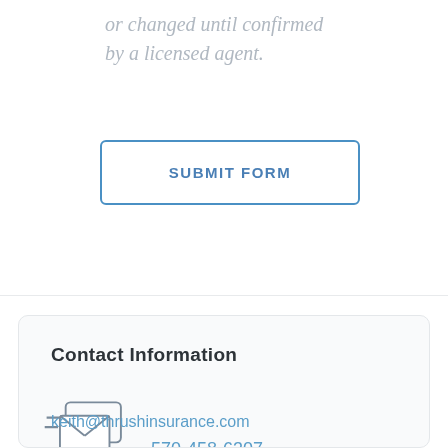or changed until confirmed by a licensed agent.
SUBMIT FORM
Contact Information
570-458-6307
keith@thrushinsurance.com